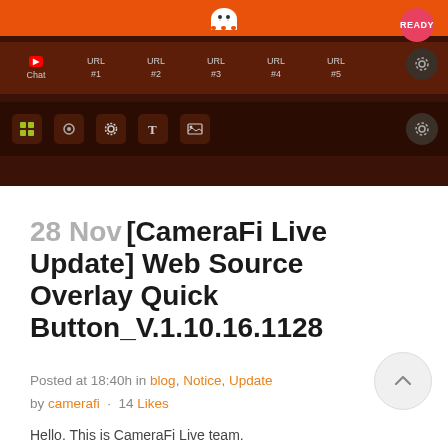[Figure (screenshot): CameraFi Live app UI screenshot showing orange top bar with ghost mascot, READY button, navigation tabs (Chat, URL #1, URL #2, URL #3, URL #4, URL #5), and dark toolbar with icons on dark brown background]
28 Nov [CameraFi Live Update] Web Source Overlay Quick Button_V.1.10.16.1128
Posted at 18:40h in blog, Notice, Update by camerafi · 14 Likes
Hello. This is CameraFi Live team.